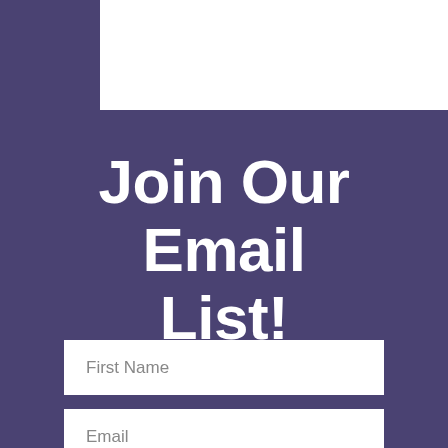[Figure (other): White rectangle at top of page, partially visible]
Join Our Email List!
First Name
Email
SUBSCRIBE